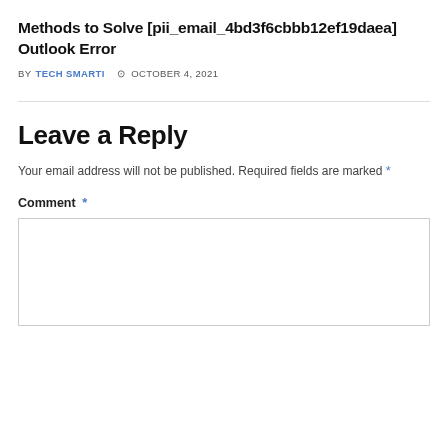Methods to Solve [pii_email_4bd3f6cbbb12ef19daea] Outlook Error
BY TECH SMARTI  © OCTOBER 4, 2021
Leave a Reply
Your email address will not be published. Required fields are marked *
Comment *